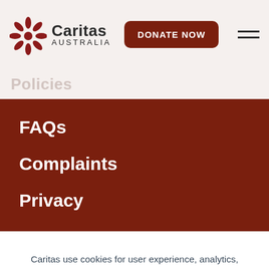[Figure (logo): Caritas Australia logo with cross/star symbol and text 'Caritas AUSTRALIA']
Policies
FAQs
Complaints
Privacy
Contact
Caritas use cookies for user experience, analytics,